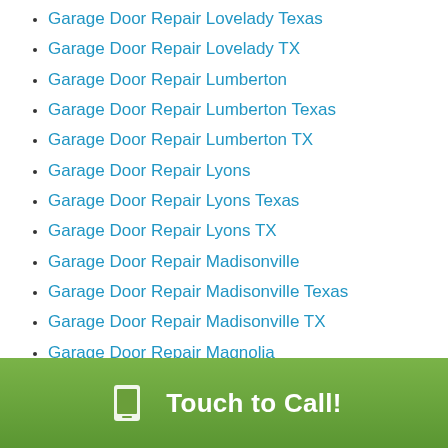Garage Door Repair Lovelady Texas
Garage Door Repair Lovelady TX
Garage Door Repair Lumberton
Garage Door Repair Lumberton Texas
Garage Door Repair Lumberton TX
Garage Door Repair Lyons
Garage Door Repair Lyons Texas
Garage Door Repair Lyons TX
Garage Door Repair Madisonville
Garage Door Repair Madisonville Texas
Garage Door Repair Madisonville TX
Garage Door Repair Magnolia
Garage Door Repair Magnolia Texas
Garage Door Repair Magnolia TX
Garage Door Repair Manvel
Garage Door Repair Manvel Texas
Garage Door Repair Manvel TX
Garage Door Repair Ma...
Touch to Call!